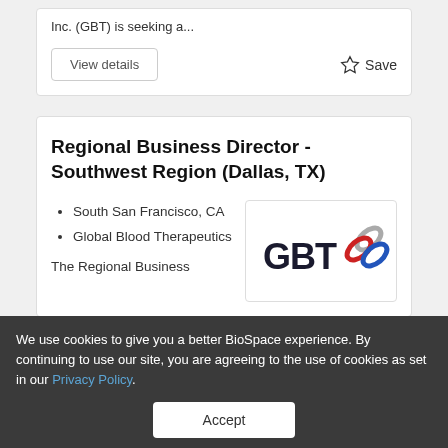Inc. (GBT) is seeking a...
View details
Save
Regional Business Director - Southwest Region (Dallas, TX)
South San Francisco, CA
Global Blood Therapeutics
[Figure (logo): GBT (Global Blood Therapeutics) logo with stylized chain-link icon in red, white, and blue]
The Regional Business
We use cookies to give you a better BioSpace experience. By continuing to use our site, you are agreeing to the use of cookies as set in our Privacy Policy.
Accept